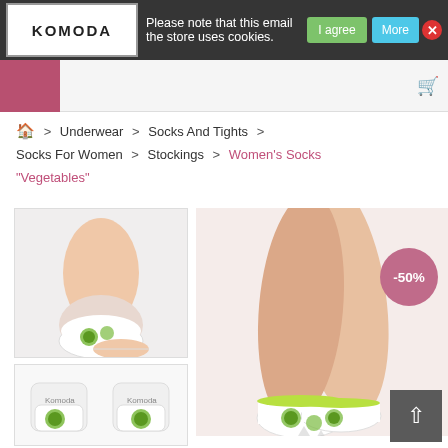Please note that this email the store uses cookies.   I agree   More   X
KOMODA
🏠 > Underwear > Socks And Tights > Socks For Women > Stockings > Women's Socks "Vegetables"
[Figure (photo): Women's leg wearing a white ankle sock with green vegetable (broccoli/turtle) print pattern]
[Figure (photo): Pair of white ankle socks with green vegetable print, laid flat]
[Figure (photo): Main product photo: women's legs wearing white ankle socks with yellow-green trim and vegetable print pattern, -50% discount badge visible]
-50%